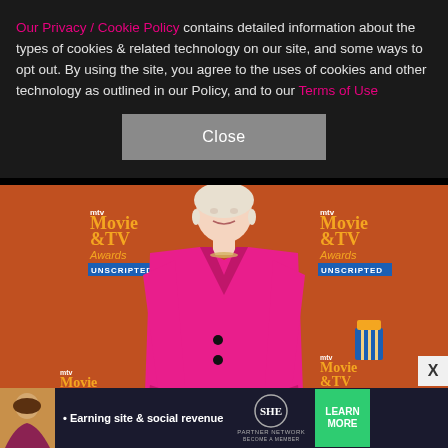Our Privacy / Cookie Policy contains detailed information about the types of cookies & related technology on our site, and some ways to opt out. By using the site, you agree to the uses of cookies and other technology as outlined in our Policy, and to our Terms of Use
[Figure (other): Gray 'Close' button centered on dark background]
[Figure (photo): Woman in bright pink blazer with matching long gloves posing at the MTV Movie & TV Awards Unscripted red carpet event. Orange/red branded backdrop with repeated MTV Movie & TV Awards Unscripted logos and popcorn cup graphics in blue and gold.]
[Figure (other): Advertisement banner: SHE Media Partner Network - Earning site & social revenue - LEARN MORE button in green]
[Figure (other): X close button for ad overlay]